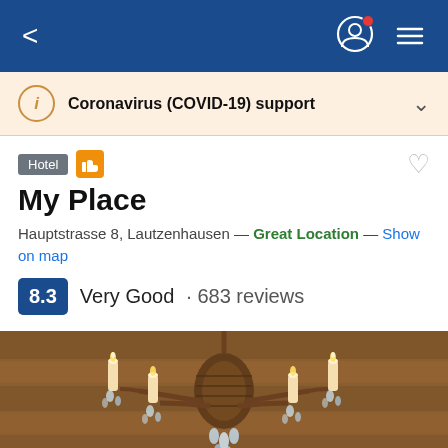[Figure (screenshot): Mobile app navigation bar with back arrow, profile icon with red dot, and hamburger menu on blue background]
Coronavirus (COVID-19) support
Hotel
My Place
Hauptstrasse 8, Lautzenhausen — Great Location — Show on map
8.3  Very Good · 683 reviews
[Figure (photo): Close-up photo of an ornate crystal chandelier with candle-style lights against a rustic wooden background]